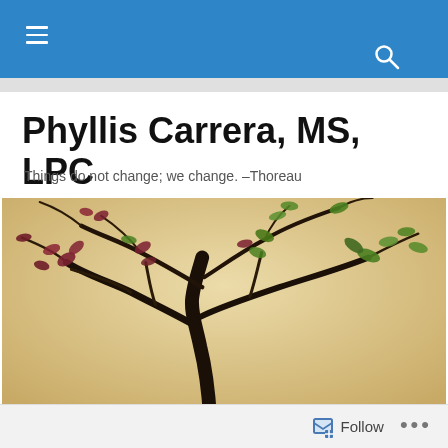Phyllis Carrera, MS, LPC — navigation bar
Phyllis Carrera, MS, LPC
Things do not change; we change. –Thoreau
[Figure (photo): Close-up photo of a bonsai tree with dark twisting branches and small red and green leaves against a warm beige/cream background]
TAGGED WITH MLK
Break Open
Follow